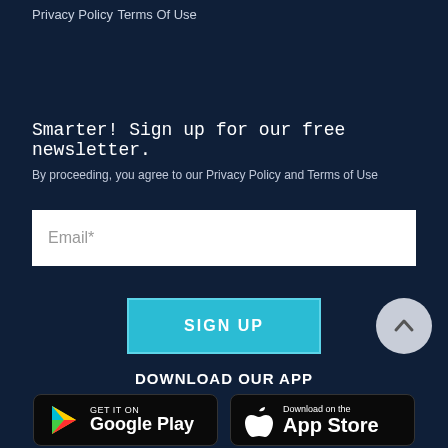Privacy Policy
Terms Of Use
Smarter! Sign up for our free newsletter.
By proceeding, you agree to our Privacy Policy and Terms of Use
Email*
SIGN UP
DOWNLOAD OUR APP
[Figure (logo): Google Play store badge with Play icon]
[Figure (logo): Apple App Store badge with Apple icon]